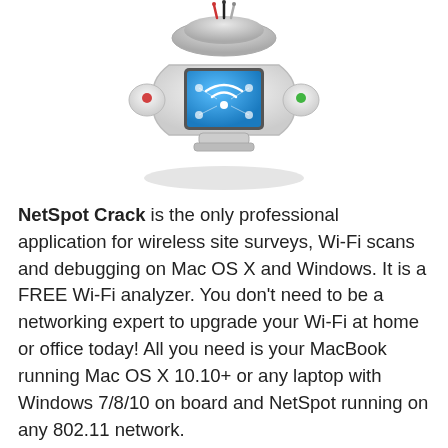[Figure (illustration): Robot/drone device icon with a blue screen showing a Wi-Fi symbol and network nodes, white rounded hexagonal body with small colored sensors]
NetSpot Crack is the only professional application for wireless site surveys, Wi-Fi scans and debugging on Mac OS X and Windows. It is a FREE Wi-Fi analyzer. You don't need to be a networking expert to upgrade your Wi-Fi at home or office today! All you need is your MacBook running Mac OS X 10.10+ or any laptop with Windows 7/8/10 on board and NetSpot running on any 802.11 network.
Use the Netspot Activation Code to view, manage, troubleshoot, audit, plan, and implement wireless networks. When using your Wi-Fi, tools that...